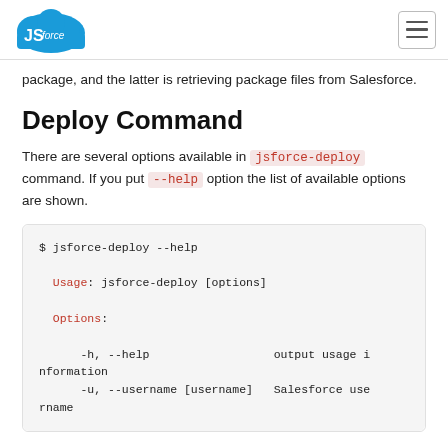JSforce
package, and the latter is retrieving package files from Salesforce.
Deploy Command
There are several options available in jsforce-deploy command. If you put --help option the list of available options are shown.
$ jsforce-deploy --help

    Usage: jsforce-deploy [options]

    Options:

        -h, --help                  output usage information
        -u, --username [username]   Salesforce username